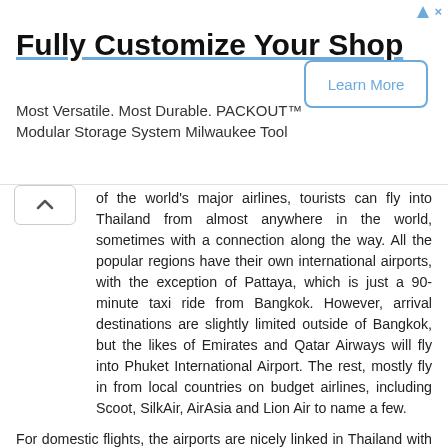[Figure (screenshot): Advertisement banner: 'Fully Customize Your Shop' with 'Learn More' button. Text: Most Versatile. Most Durable. PACKOUT™ Modular Storage System Milwaukee Tool]
of the world's major airlines, tourists can fly into Thailand from almost anywhere in the world, sometimes with a connection along the way. All the popular regions have their own international airports, with the exception of Pattaya, which is just a 90-minute taxi ride from Bangkok. However, arrival destinations are slightly limited outside of Bangkok, but the likes of Emirates and Qatar Airways will fly into Phuket International Airport. The rest, mostly fly in from local countries on budget airlines, including Scoot, SilkAir, AirAsia and Lion Air to name a few.
For domestic flights, the airports are nicely linked in Thailand with flights from as little as $45 USD one way. There are several budget airlines servicing these routes, including Thai Lion Air, AirAsia, Nok Air, Thai Airways, Bangkok Airways, and Thai Smile.
The train allows for even cheaper travel within Thailand and is far more comfortable than spending hours sitting on a bus. Bangkok has the BTS, or Skytrain, which allows for fast transfer from the